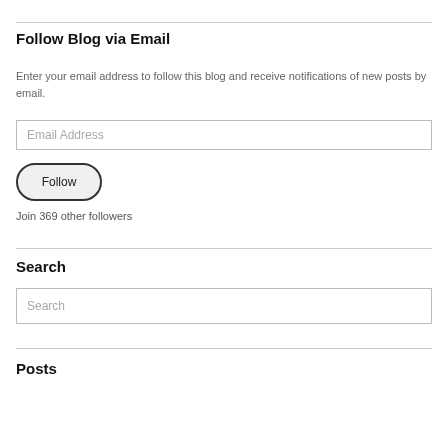Follow Blog via Email
Enter your email address to follow this blog and receive notifications of new posts by email.
[Figure (other): Email Address input text field]
[Figure (other): Follow button with rounded border]
Join 369 other followers
Search
[Figure (other): Search input text field]
Posts